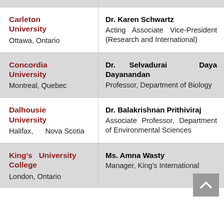| Institution | Contact |
| --- | --- |
| Carleton University
Ottawa, Ontario | Dr. Karen Schwartz
Acting Associate Vice-President (Research and International) |
| Concordia University
Montreal, Quebec | Dr. Selvadurai Daya Dayanandan
Professor, Department of Biology |
| Dalhousie University
Halifax, Nova Scotia | Dr. Balakrishnan Prithiviraj
Associate Professor, Department of Environmental Sciences |
| King's University College
London, Ontario | Ms. Amna Wasty
Manager, King's International |